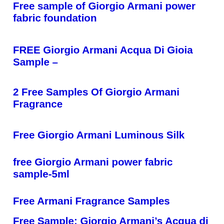Free sample of Giorgio Armani power fabric foundation
FREE Giorgio Armani Acqua Di Gioia Sample –
2 Free Samples Of Giorgio Armani Fragrance
Free Giorgio Armani Luminous Silk
free Giorgio Armani power fabric sample-5ml
Free Armani Fragrance Samples
Free Sample: Giorgio Armani's Acqua di Gioia Perfume